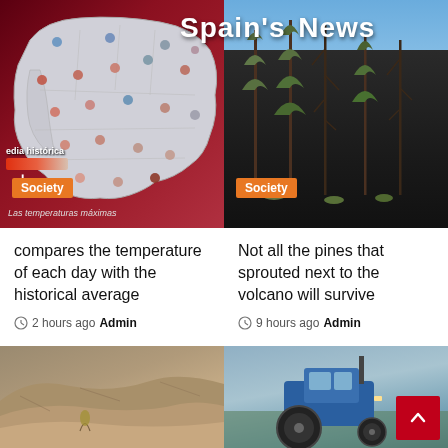Spain's News
[Figure (map): Map of Spain showing temperature dots (red/blue/beige) across regions on a dark red background with country borders. Legend: 'edia histórica' with red gradient bar. Caption: 'Las temperaturas máximas']
[Figure (photo): Photo of pine trees on dark volcanic lava field with bright blue sky]
compares the temperature of each day with the historical average
2 hours ago Admin
Not all the pines that sprouted next to the volcano will survive
9 hours ago Admin
[Figure (photo): Aerial or landscape photo showing arid mountainous terrain]
[Figure (photo): Photo showing a blue tractor in a field with grey sky]